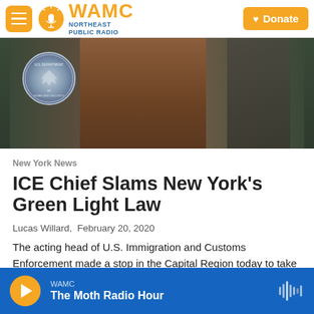WAMC Northeast Public Radio — Donate
[Figure (photo): Press conference scene with a podium bearing a U.S. Department of Homeland Security seal, officials in suits flanking the podium]
New York News
ICE Chief Slams New York's Green Light Law
Lucas Willard,  February 20, 2020
The acting head of U.S. Immigration and Customs Enforcement made a stop in the Capital Region today to take a stand against a New York law that prevents…
WAMC — The Moth Radio Hour